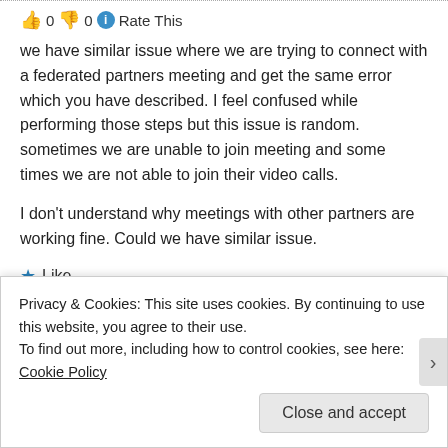👍 0 👎 0 ℹ Rate This
we have similar issue where we are trying to connect with a federated partners meeting and get the same error which you have described. I feel confused while performing those steps but this issue is random. sometimes we are unable to join meeting and some times we are not able to join their video calls.

I don't understand why meetings with other partners are working fine. Could we have similar issue.
★ Like
REPLY
Paul B said: 15/05/2018 at 03:13
Privacy & Cookies: This site uses cookies. By continuing to use this website, you agree to their use.
To find out more, including how to control cookies, see here: Cookie Policy
Close and accept